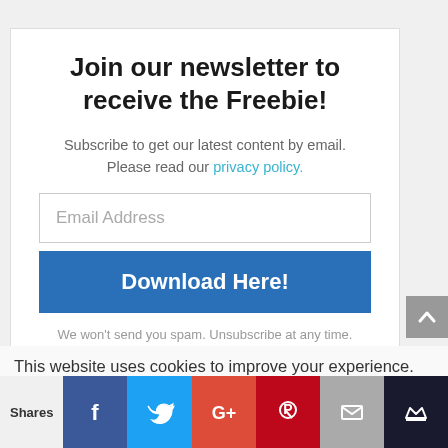Join our newsletter to receive the Freebie!
Subscribe to get our latest content by email. Please read our privacy policy.
Email Address
Download Here!
We won't send you spam. Unsubscribe at any time.
Powered by ConvertKit
This website uses cookies to improve your experience. We'll assume you're ok with this, but you can opt-out if you wish.
Shares